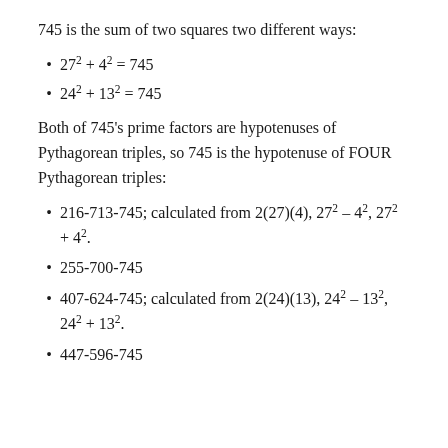745 is the sum of two squares two different ways:
27² + 4² = 745
24² + 13² = 745
Both of 745's prime factors are hypotenuses of Pythagorean triples, so 745 is the hypotenuse of FOUR Pythagorean triples:
216-713-745; calculated from 2(27)(4), 27² – 4², 27² + 4².
255-700-745
407-624-745; calculated from 2(24)(13), 24² – 13², 24² + 13².
447-596-745